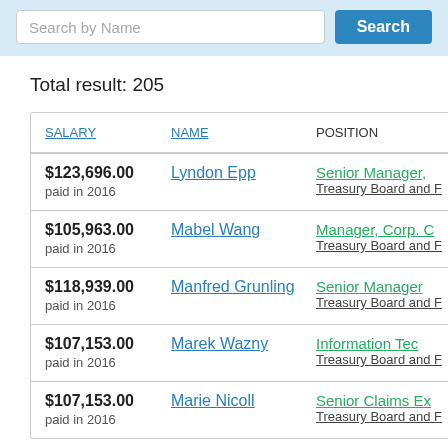[Figure (screenshot): Search bar with 'Search by Name' placeholder input and a blue 'Search' button on a light blue background]
Total result: 205
| SALARY | NAME | POSITION |
| --- | --- | --- |
| $123,696.00
paid in 2016 | Lyndon Epp | Senior Manager,
Treasury Board and F |
| $105,963.00
paid in 2016 | Mabel Wang | Manager, Corp. C
Treasury Board and F |
| $118,939.00
paid in 2016 | Manfred Grunling | Senior Manager
Treasury Board and F |
| $107,153.00
paid in 2016 | Marek Wazny | Information Tec
Treasury Board and F |
| $107,153.00
paid in 2016 | Marie Nicoll | Senior Claims Ex
Treasury Board and F |